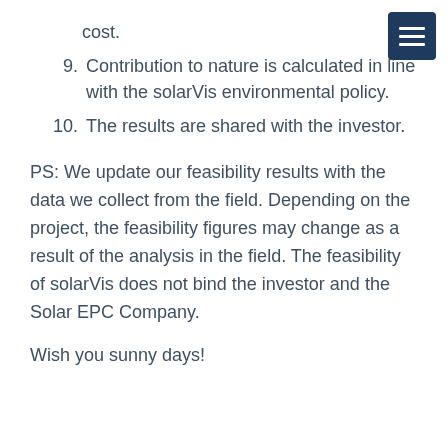cost.
9. Contribution to nature is calculated in line with the solarVis environmental policy.
10. The results are shared with the investor.
PS: We update our feasibility results with the data we collect from the field. Depending on the project, the feasibility figures may change as a result of the analysis in the field. The feasibility of solarVis does not bind the investor and the Solar EPC Company.
Wish you sunny days!